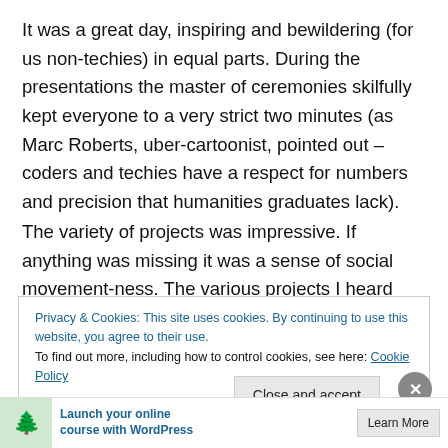It was a great day, inspiring and bewildering (for us non-techies) in equal parts. During the presentations the master of ceremonies skilfully kept everyone to a very strict two minutes (as Marc Roberts, uber-cartoonist, pointed out – coders and techies have a respect for numbers and precision that humanities graduates lack).
The variety of projects was impressive. If anything was missing it was a sense of social movement-ness. The various projects I heard explained were all about how individuals can park more easily, or find a toilet (not to be
Privacy & Cookies: This site uses cookies. By continuing to use this website, you agree to their use.
To find out more, including how to control cookies, see here: Cookie Policy
[Figure (other): Advertisement banner at the bottom showing a tree icon and text 'Launch your online course with WordPress' with a 'Learn More' button]